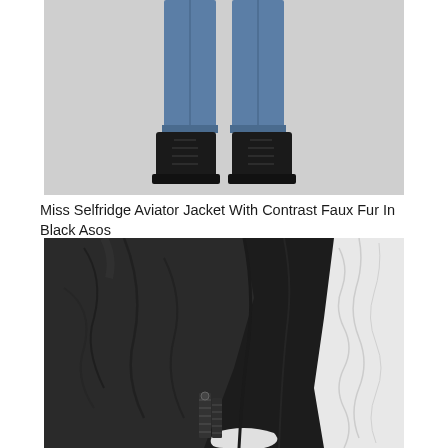[Figure (photo): Lower half of a person wearing blue jeans and black lace-up leather boots against a light grey background]
Miss Selfridge Aviator Jacket With Contrast Faux Fur In Black Asos
[Figure (photo): Close-up detail of a black leather aviator jacket with white faux fur contrast lining and zipper details]